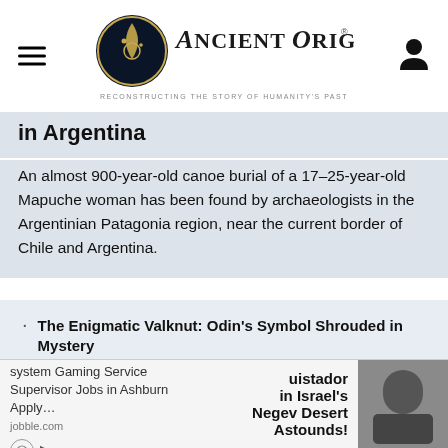Ancient Origins — Reconstructing the story of humanity's past
in Argentina
An almost 900-year-old canoe burial of a 17–25-year-old Mapuche woman has been found by archaeologists in the Argentinian Patagonia region, near the current border of Chile and Argentina.
The Enigmatic Valknut: Odin's Symbol Shrouded in Mystery
Don't Mess with the Chaste Huntress and Greek Goddess Artemis
Extreme Drought Exposes Theropod Dinosaur Tracks in Texas River
Álvar Núñez Cabeza de Vaca: The Extraordinary … uistador
… in Israel's Negev Desert Astounds!
children's national health system Gaming Service Supervisor Jobs in Ashburn Apply… jobble.com